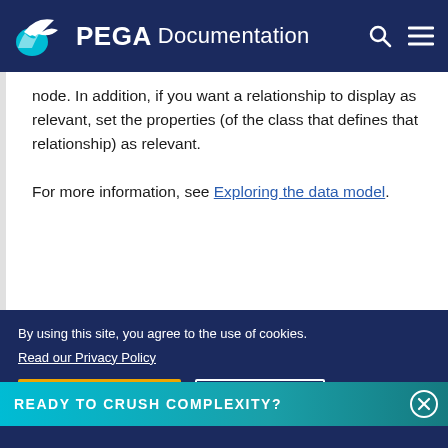PEGA Documentation
node. In addition, if you want a relationship to display as relevant, set the properties (of the class that defines that relationship) as relevant.
For more information, see Exploring the data model.
READY TO CRUSH COMPLEXITY?
By using this site, you agree to the use of cookies. Read our Privacy Policy
Accept and continue   About cookies